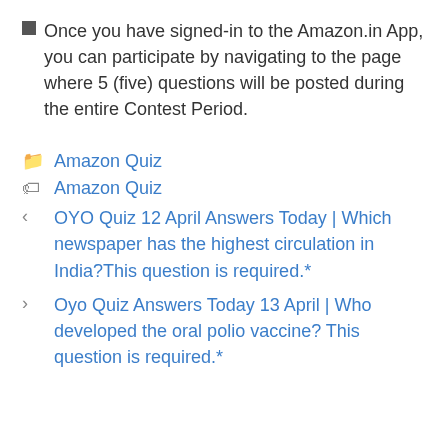Once you have signed-in to the Amazon.in App, you can participate by navigating to the page where 5 (five) questions will be posted during the entire Contest Period.
Amazon Quiz
Amazon Quiz
OYO Quiz 12 April Answers Today | Which newspaper has the highest circulation in India?This question is required.*
Oyo Quiz Answers Today 13 April | Who developed the oral polio vaccine? This question is required.*